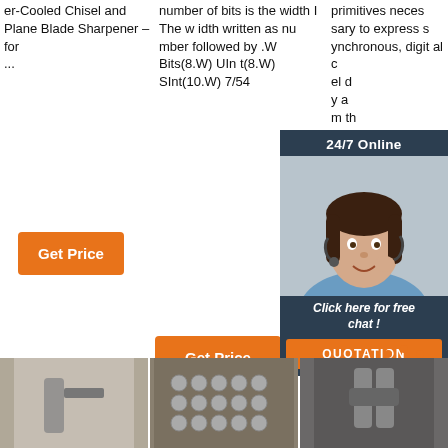er-Cooled Chisel and Plane Blade Sharpener – for ...
number of bits is the width I The width written as number followed by .W Bits(8.W) UInt(8.W) SInt(10.W) 7/54
primitives necessary to express synchronous, digital circuit designs that may include a circuit ...
[Figure (photo): Customer service representative woman with headset, chat widget overlay with '24/7 Online', 'Click here for free chat!', and 'QUOTATION' button]
Get Price
Get Price
Get Price
[Figure (photo): Bottom row of three product/tool images]
[Figure (logo): TOP logo with orange dots]